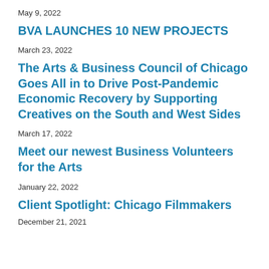May 9, 2022
BVA LAUNCHES 10 NEW PROJECTS
March 23, 2022
The Arts & Business Council of Chicago Goes All in to Drive Post-Pandemic Economic Recovery by Supporting Creatives on the South and West Sides
March 17, 2022
Meet our newest Business Volunteers for the Arts
January 22, 2022
Client Spotlight: Chicago Filmmakers
December 21, 2021